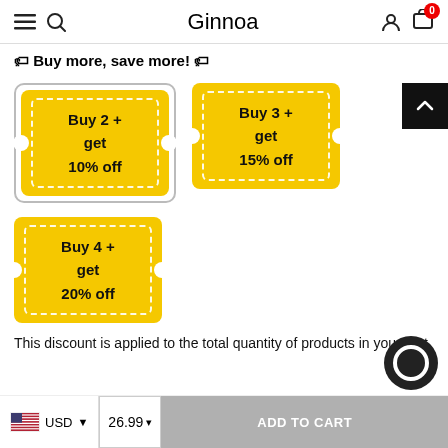Ginnoa
🏷 Buy more, save more! 🏷
[Figure (infographic): Three yellow coupon tiles: Buy 2+ get 10% off (selected with white border), Buy 3+ get 15% off, Buy 4+ get 20% off]
This discount is applied to the total quantity of products in your cart
USD  26.99  ADD TO CART